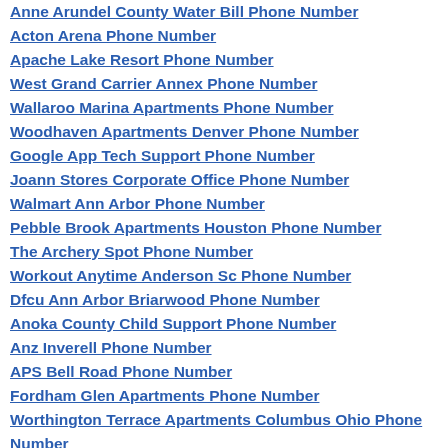Anne Arundel County Water Bill Phone Number
Acton Arena Phone Number
Apache Lake Resort Phone Number
West Grand Carrier Annex Phone Number
Wallaroo Marina Apartments Phone Number
Woodhaven Apartments Denver Phone Number
Google App Tech Support Phone Number
Joann Stores Corporate Office Phone Number
Walmart Ann Arbor Phone Number
Pebble Brook Apartments Houston Phone Number
The Archery Spot Phone Number
Workout Anytime Anderson Sc Phone Number
Dfcu Ann Arbor Briarwood Phone Number
Anoka County Child Support Phone Number
Anz Inverell Phone Number
APS Bell Road Phone Number
Fordham Glen Apartments Phone Number
Worthington Terrace Apartments Columbus Ohio Phone Number